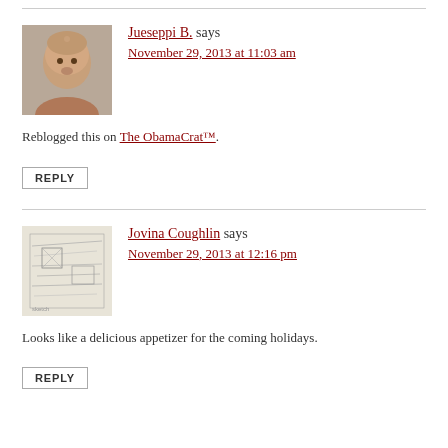Jueseppi B. says
November 29, 2013 at 11:03 am
Reblogged this on The ObamaCrat™.
REPLY
Jovina Coughlin says
November 29, 2013 at 12:16 pm
Looks like a delicious appetizer for the coming holidays.
REPLY